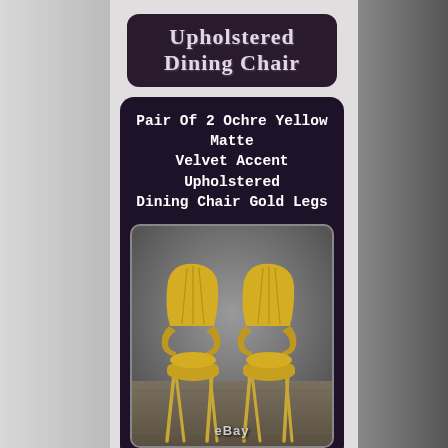Upholstered Dining Chair
Pair Of 2 Ochre Yellow Matte Velvet Accent Upholstered Dining Chair Gold Legs
[Figure (photo): Two ochre yellow matte velvet accent upholstered dining chairs with gold legs, photographed against a grey background on a wooden floor. eBay watermark at bottom.]